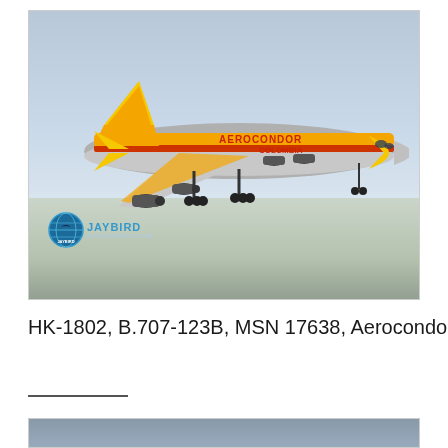[Figure (photo): Photograph of a Boeing 707 aircraft in Aerocondor Colombia livery (yellow, orange, and silver colors) on approach or takeoff, with a blue-gray sky background and blurred ground below. A Jaybird Aviation Photos watermark logo is visible in the lower-left corner of the photo.]
HK-1802, B.707-123B, MSN 17638, Aerocondor
[Figure (photo): Partial view of a second aircraft photograph, cropped at the bottom of the page showing only a blue-gray sky portion.]